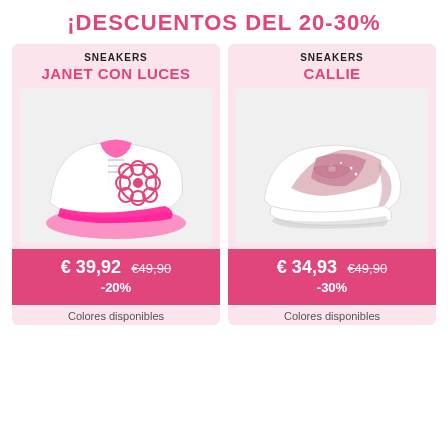¡DESCUENTOS DEL 20-30%
SNEAKERS
JANET CON LUCES
[Figure (photo): White and pink sneaker with flower design and glowing pink sole (JANET CON LUCES)]
€ 39,92  €49,90  -20%
Colores disponibles
SNEAKERS
CALLIE
[Figure (photo): White and rose gold sneaker with glitter wings detail (CALLIE)]
€ 34,93  €49,90  -30%
Colores disponibles